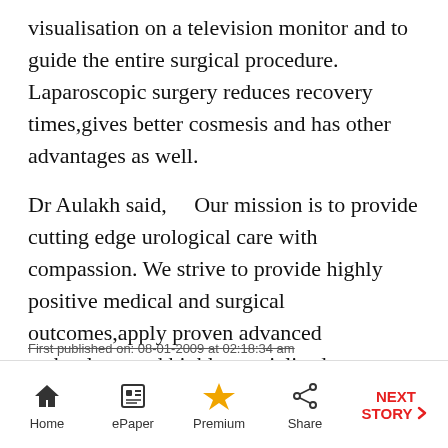visualisation on a television monitor and to guide the entire surgical procedure. Laparoscopic surgery reduces recovery times,gives better cosmesis and has other advantages as well.
Dr Aulakh said,    Our mission is to provide cutting edge urological care with compassion. We strive to provide highly positive medical and surgical outcomes,apply proven advanced technology and highly specialised surgery,individualise care of every patient,and treat every patient with utmost compassion   .
First published on: 08-01-2009 at 02:18:34 am
Home  ePaper  Premium  Share  NEXT STORY